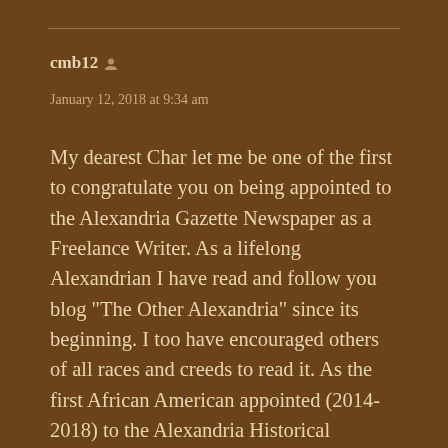cmb12
January 12, 2018 at 9:34 am
My dearest Char let me be one of the first to congratulate you on being appointed to the Alexandria Gazette Newspaper as a Freelance Writer. As a lifelong Alexandrian I have read and follow you blog “The Other Alexandria” since its beginning. I too have encouraged others of all races and creeds to read it. As the first African American appointed (2014-2018) to the Alexandria Historical Resource Commission your new assignment to the Gazette is not only an asset but will tell the stories of so many forgotten Alexandrian. To